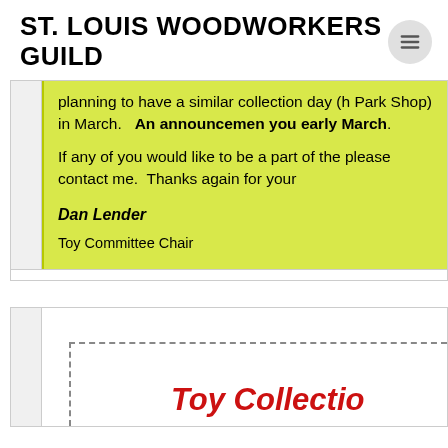ST. LOUIS WOODWORKERS GUILD
planning to have a similar collection day (h Park Shop) in March.   An announcement you early March.
If any of you would like to be a part of the please contact me.  Thanks again for your
Dan Lender
Toy Committee Chair
Toy Collectio